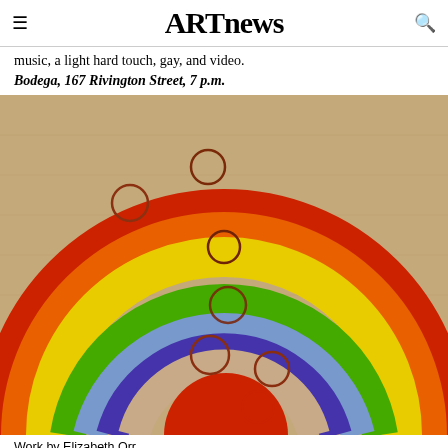ARTnews
music, a light hard touch, gay, and video.
Bodega, 167 Rivington Street, 7 p.m.
[Figure (photo): A painted rainbow artwork lying on a wooden floor. The rainbow has concentric bands of color: red, orange, yellow, green, blue, indigo, and tan/beige at the center, with a red semicircle at the very center. Several circular rubber bands or rings are scattered on top of the painting.]
Work by Elizabeth Orr.